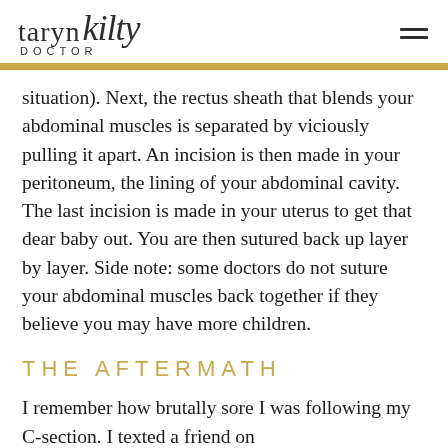taryn kilty DOCTOR
situation). Next, the rectus sheath that blends your abdominal muscles is separated by viciously pulling it apart. An incision is then made in your peritoneum, the lining of your abdominal cavity. The last incision is made in your uterus to get that dear baby out. You are then sutured back up layer by layer. Side note: some doctors do not suture your abdominal muscles back together if they believe you may have more children.
THE AFTERMATH
I remember how brutally sore I was following my C-section. I texted a friend on